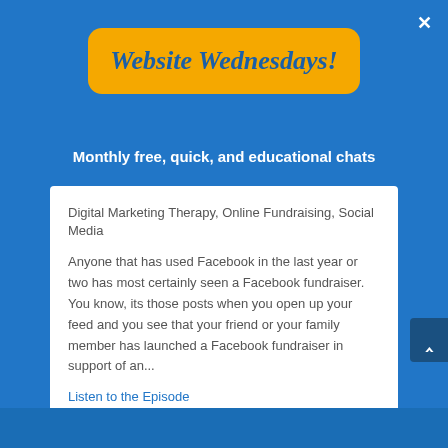Website Wednesdays!
Monthly free, quick, and educational chats
Digital Marketing Therapy, Online Fundraising, Social Media
Anyone that has used Facebook in the last year or two has most certainly seen a Facebook fundraiser. You know, its those posts when you open up your feed and you see that your friend or your family member has launched a Facebook fundraiser in support of an...
Listen to the Episode